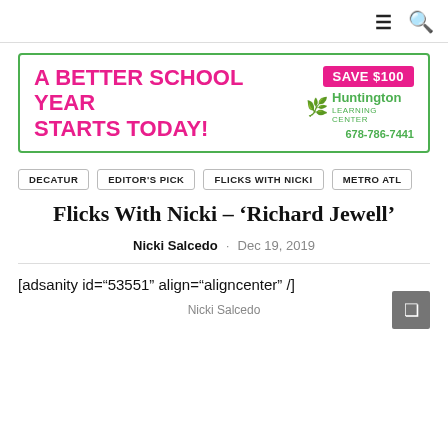≡ 🔍
[Figure (other): Advertisement banner for Huntington Learning Center: 'A BETTER SCHOOL YEAR STARTS TODAY!' with 'SAVE $100' badge and phone number 678-786-7441]
DECATUR
EDITOR'S PICK
FLICKS WITH NICKI
METRO ATL
Flicks With Nicki – ‘Richard Jewell’
Nicki Salcedo · Dec 19, 2019
[adsanity id="53551" align="aligncenter" /]
Nicki Salcedo